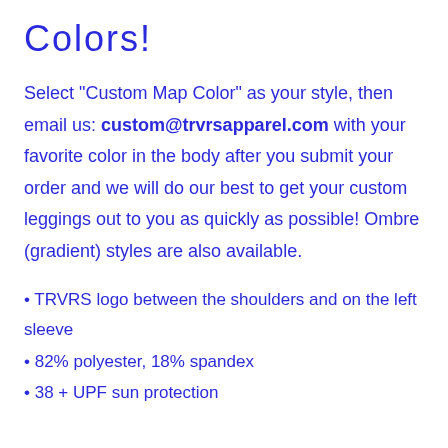Colors!
Select "Custom Map Color" as your style, then email us: custom@trvrsapparel.com with your favorite color in the body after you submit your order and we will do our best to get your custom leggings out to you as quickly as possible! Ombre (gradient) styles are also available.
TRVRS logo between the shoulders and on the left sleeve
82% polyester, 18% spandex
38 + UPF sun protection